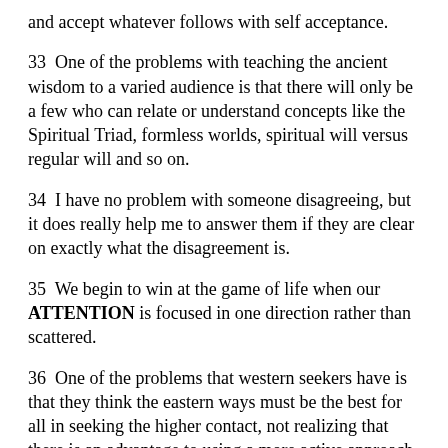and accept whatever follows with self acceptance.
33  One of the problems with teaching the ancient wisdom to a varied audience is that there will only be a few who can relate or understand concepts like the Spiritual Triad, formless worlds, spiritual will versus regular will and so on.
34  I have no problem with someone disagreeing, but it does really help me to answer them if they are clear on exactly what the disagreement is.
35  We begin to win at the game of life when our ATTENTION is focused in one direction rather than scattered.
36  One of the problems that western seekers have is that they think the eastern ways must be the best for all in seeking the higher contact, not realizing that there is an advantage to using a more active approach for the western mind. I have personally gotten some of my